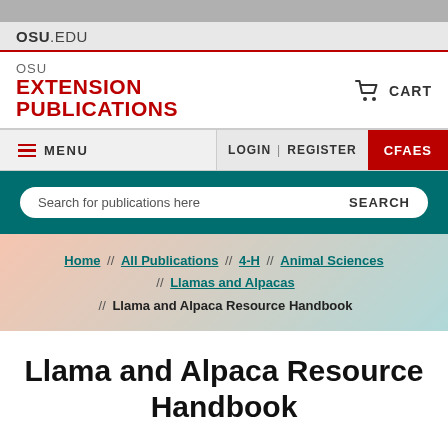OSU.EDU
OSU EXTENSION PUBLICATIONS
CART
MENU  LOGIN | REGISTER  CFAES
Search for publications here  SEARCH
Home // All Publications // 4-H // Animal Sciences // Llamas and Alpacas // Llama and Alpaca Resource Handbook
Llama and Alpaca Resource Handbook